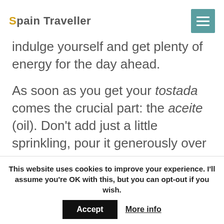Spain Traveller
indulge yourself and get plenty of energy for the day ahead.
As soon as you get your tostada comes the crucial part: the aceite (oil). Don't add just a little sprinkling, pour it generously over the bread. And if you want the bread to fully absorb the oil, drill a few holes with a knife first
This website uses cookies to improve your experience. I'll assume you're OK with this, but you can opt-out if you wish. Accept  More info